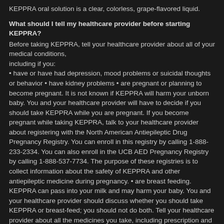KEPPRA oral solution is a clear, colorless, grape-flavored liquid.
What should I tell my healthcare provider before starting KEPPRA?
Before taking KEPPRA, tell your healthcare provider about all of your medical conditions, including if you:
• have or have had depression, mood problems or suicidal thoughts or behavior • have kidney problems • are pregnant or planning to become pregnant. It is not known if KEPPRA will harm your unborn baby. You and your healthcare provider will have to decide if you should take KEPPRA while you are pregnant. If you become pregnant while taking KEPPRA, talk to your healthcare provider about registering with the North American Antiepileptic Drug Pregnancy Registry. You can enroll in this registry by calling 1-888-233-2334. You can also enroll in the UCB AED Pregnancy Registry by calling 1-888-537-7734. The purpose of these registries is to collect information about the safety of KEPPRA and other antiepileptic medicine during pregnancy. • are breast feeding. KEPPRA can pass into your milk and may harm your baby. You and your healthcare provider should discuss whether you should take KEPPRA or breast-feed; you should not do both. Tell your healthcare provider about all the medicines you take, including prescription and nonprescription medicines, vitamins, and herbal supplements. Do not start a new medicine without first talking with your healthcare provider. Know the medicines you take. Keep a list of them to